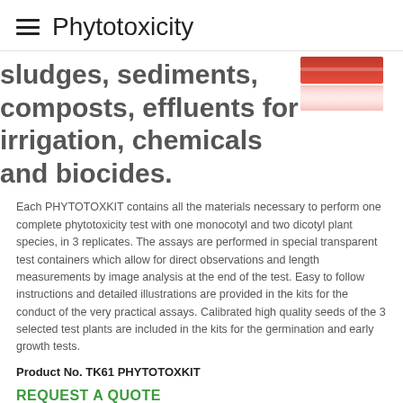Phytotoxicity
sludges, sediments, composts, effluents for irrigation, chemicals and biocides.
[Figure (photo): Red rectangular product container/kit shown at top right of page]
Each PHYTOTOXKIT contains all the materials necessary to perform one complete phytotoxicity test with one monocotyl and two dicotyl plant species, in 3 replicates. The assays are performed in special transparent test containers which allow for direct observations and length measurements by image analysis at the end of the test. Easy to follow instructions and detailed illustrations are provided in the kits for the conduct of the very practical assays. Calibrated high quality seeds of the 3 selected test plants are included in the kits for the germination and early growth tests.
Product No. TK61 PHYTOTOXKIT
REQUEST A QUOTE